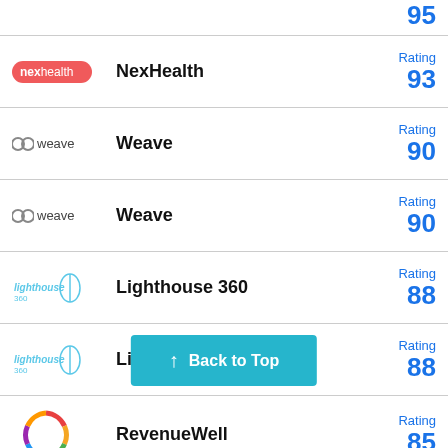95 (partial, top of page)
NexHealth — Rating 93
Weave — Rating 90
Weave — Rating 90
Lighthouse 360 — Rating 88
Lighthouse 360 — Rating 88
RevenueWell — Rating 85
Adit — Rating (partial, cut off)